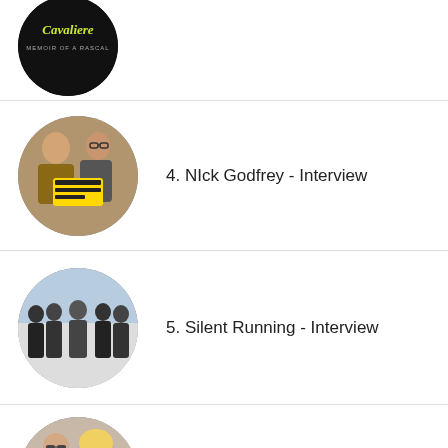[Figure (photo): Circular thumbnail of Cavaliere memoir book cover with dark background and yellow/green script text]
[Figure (photo): Circular thumbnail of two men holding a yellow book or magazine]
4. NIck Godfrey - Interview
[Figure (photo): Circular thumbnail of a group of five men standing outdoors]
5. Silent Running - Interview
[Figure (photo): Circular thumbnail of a man in suit and woman with sunglasses outdoors]
6. Dwina Gibb - Interview